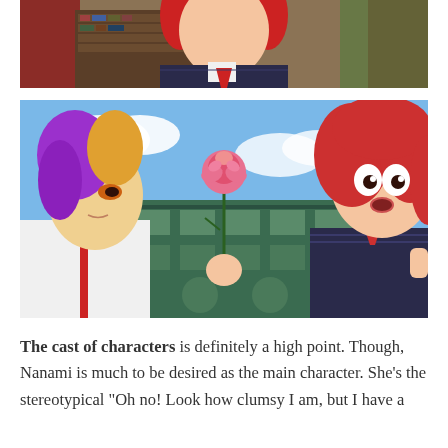[Figure (illustration): Top portion of an anime character with red hair wearing a dark school uniform with a red tie, standing indoors with curtains and bookshelves in the background.]
[Figure (illustration): Two anime characters facing each other outdoors in front of a school building. On the left is a male character with purple and orange hair in a white uniform holding a pink rose. On the right is a female character with red hair in a dark school uniform looking shocked.]
The cast of characters is definitely a high point. Though, Nanami is much to be desired as the main character. She's the stereotypical "Oh no! Look how clumsy I am, but I have a